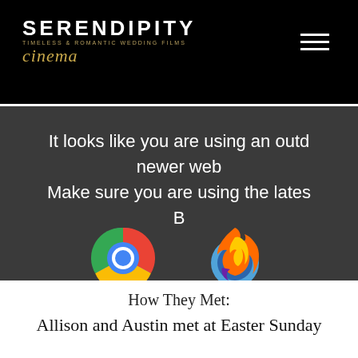SERENDIPITY TIMELESS & ROMANTIC WEDDING FILMS cinema
It looks like you are using an outdated newer web Make sure you are using the lates B
[Figure (illustration): Chrome browser icon (partial) and Firefox browser icon (partial) at bottom of dark banner]
How They Met:
Allison and Austin met at Easter Sunday